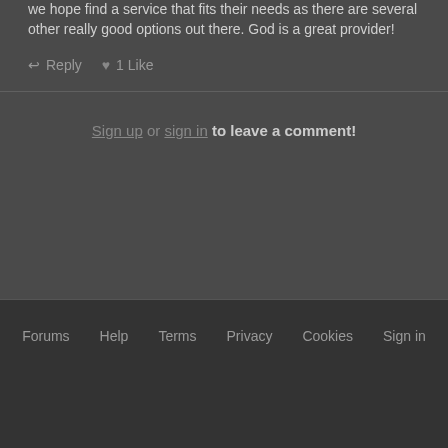we hope find a service that fits their needs as there are several other really good options out there. God is a great provider!
Reply  1 Like
Sign up or sign in to leave a comment!
Forums  Help  Terms  Privacy  Cookies  Sign in